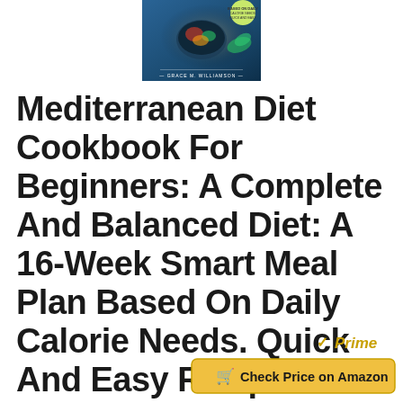[Figure (illustration): Book cover of Mediterranean Diet Cookbook For Beginners showing a dark blue/teal background with food imagery and the author name Grace M. Williamson]
Mediterranean Diet Cookbook For Beginners: A Complete And Balanced Diet: A 16-Week Smart Meal Plan Based On Daily Calorie Needs. Quick And Easy Recipes For More Than 365 Days
[Figure (logo): Amazon Prime logo with gold checkmark and italic Prime text]
[Figure (other): Check Price on Amazon button in gold/yellow color with shopping cart icon]